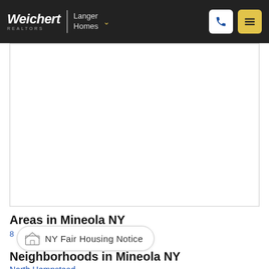Weichert | Langer Homes
[Figure (map): Embedded map area for Mineola NY, shown as a white bordered box]
Areas in Mineola NY
8
NY Fair Housing Notice
Neighborhoods in Mineola NY
North Hempstead